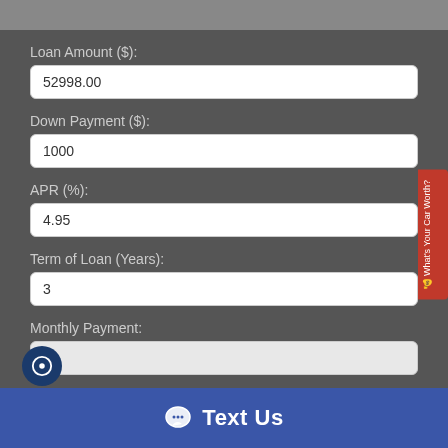Loan Amount ($):
52998.00
Down Payment ($):
1000
APR (%):
4.95
Term of Loan (Years):
3
Monthly Payment:
Text Us